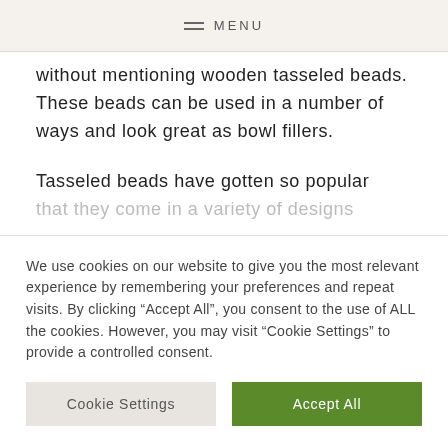MENU
without mentioning wooden tasseled beads. These beads can be used in a number of ways and look great as bowl fillers.
Tasseled beads have gotten so popular that they come in a variety of designs
We use cookies on our website to give you the most relevant experience by remembering your preferences and repeat visits. By clicking “Accept All”, you consent to the use of ALL the cookies. However, you may visit “Cookie Settings” to provide a controlled consent.
Cookie Settings
Accept All